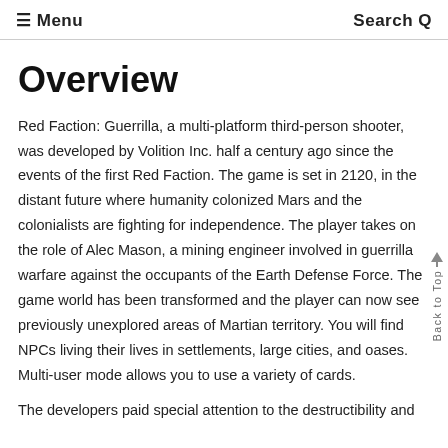≡ Menu  Search Q
Overview
Red Faction: Guerrilla, a multi-platform third-person shooter, was developed by Volition Inc. half a century ago since the events of the first Red Faction. The game is set in 2120, in the distant future where humanity colonized Mars and the colonialists are fighting for independence. The player takes on the role of Alec Mason, a mining engineer involved in guerrilla warfare against the occupants of the Earth Defense Force. The game world has been transformed and the player can now see previously unexplored areas of Martian territory. You will find NPCs living their lives in settlements, large cities, and oases. Multi-user mode allows you to use a variety of cards.
The developers paid special attention to the destructibility and